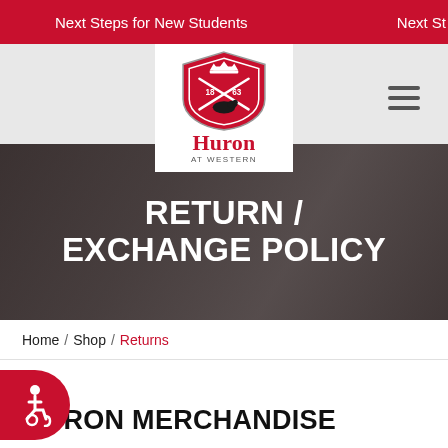Next Steps for New Students   Next St
[Figure (logo): Huron at Western university crest/shield logo with text 'Huron AT WESTERN']
RETURN / EXCHANGE POLICY
Home / Shop / Returns
[Figure (illustration): Red circular accessibility icon with wheelchair symbol]
HURON MERCHANDISE